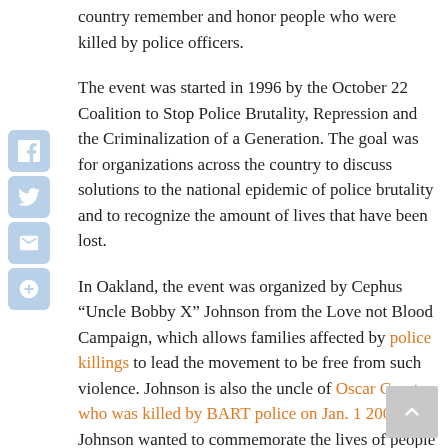country remember and honor people who were killed by police officers.
The event was started in 1996 by the October 22 Coalition to Stop Police Brutality, Repression and the Criminalization of a Generation. The goal was for organizations across the country to discuss solutions to the national epidemic of police brutality and to recognize the amount of lives that have been lost.
In Oakland, the event was organized by Cephus “Uncle Bobby X” Johnson from the Love not Blood Campaign, which allows families affected by police killings to lead the movement to be free from such violence. Johnson is also the uncle of Oscar Grant, who was killed by BART police on Jan. 1 2009. Johnson wanted to commemorate the lives of people killed by police since Grant’s death by naming each one.